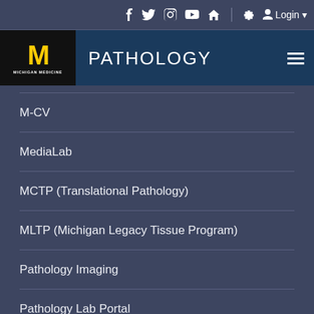Michigan Medicine - PATHOLOGY
M-CV
MediaLab
MCTP (Translational Pathology)
MLTP (Michigan Legacy Tissue Program)
Pathology Imaging
Pathology Lab Portal
Policies and Procedures
PhD Program